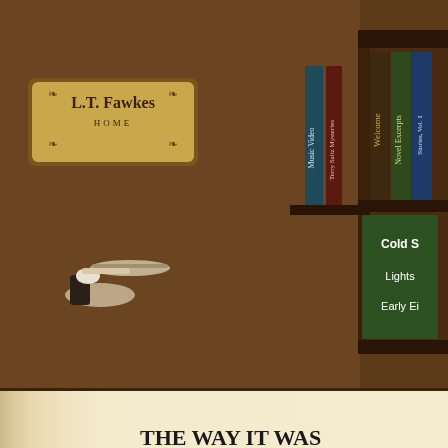[Figure (illustration): L.T. Fawkes website screenshot showing a bookshelf navigation with books labeled Welcome, Novel Excerpts, Stories Vol. 1, Music Video, Terry Saltz Mysteries, Cold S..., Lights..., Early Ei..., and a decorative gold nameplate reading 'L.T. Fawkes HOME', plus a butler holding a tray.]
THE WAY IT WAS
Chapters: | Previous | Preface | 1 | 2 | 3 |
COLLEGE SQUARE
By David Porter
(All Rights Reserved by Author)